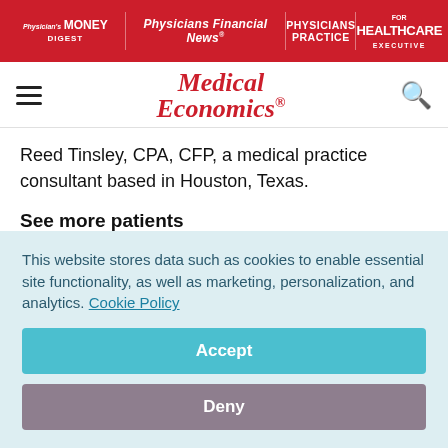Physician's Money Digest | Physicians Financial News | Physicians Practice | Healthcare Executive
[Figure (logo): Medical Economics logo in red italic serif font]
Reed Tinsley, CPA, CFP, a medical practice consultant based in Houston, Texas.
See more patients
Often, the most direct route to bolstering revenue is by seeing more patients.
This website stores data such as cookies to enable essential site functionality, as well as marketing, personalization, and analytics. Cookie Policy
Accept
Deny